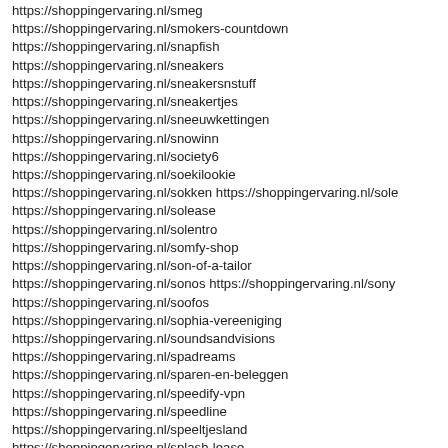https://shoppingervaring.nl/smeg
https://shoppingervaring.nl/smokers-countdown
https://shoppingervaring.nl/snapfish
https://shoppingervaring.nl/sneakers
https://shoppingervaring.nl/sneakersnstuff
https://shoppingervaring.nl/sneakertjes
https://shoppingervaring.nl/sneeuwkettingen
https://shoppingervaring.nl/snowinn
https://shoppingervaring.nl/society6
https://shoppingervaring.nl/soekilookie
https://shoppingervaring.nl/sokken https://shoppingervaring.nl/sole
https://shoppingervaring.nl/solease
https://shoppingervaring.nl/solentro
https://shoppingervaring.nl/somfy-shop
https://shoppingervaring.nl/son-of-a-tailor
https://shoppingervaring.nl/sonos https://shoppingervaring.nl/sony
https://shoppingervaring.nl/soofos
https://shoppingervaring.nl/sophia-vereeniging
https://shoppingervaring.nl/soundsandvisions
https://shoppingervaring.nl/spadreams
https://shoppingervaring.nl/sparen-en-beleggen
https://shoppingervaring.nl/speedify-vpn
https://shoppingervaring.nl/speedline
https://shoppingervaring.nl/speeltjesland
https://shoppingervaring.nl/splash-lease
https://shoppingervaring.nl/...